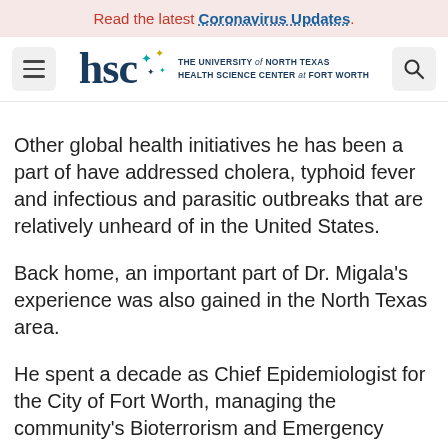Read the latest Coronavirus Updates.
[Figure (logo): UNT Health Science Center at Fort Worth logo with HSC wordmark, decorative stars, and navigation hamburger menu and search icons]
Other global health initiatives he has been a part of have addressed cholera, typhoid fever and infectious and parasitic outbreaks that are relatively unheard of in the United States.
Back home, an important part of Dr. Migala's experience was also gained in the North Texas area.
He spent a decade as Chief Epidemiologist for the City of Fort Worth, managing the community's Bioterrorism and Emergency Preparedness Program for a portion of the…